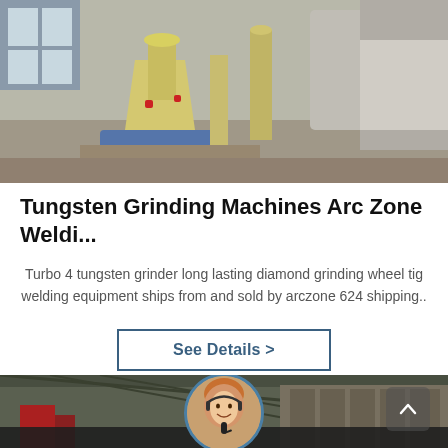[Figure (photo): Industrial grinding machine (yellow/cream colored) on blue stand in a dusty facility, with silos or equipment in background]
Tungsten Grinding Machines Arc Zone Weldi...
Turbo 4 tungsten grinder long lasting diamond grinding wheel tig welding equipment ships from and sold by arczone 624 shipping..
See Details >
[Figure (photo): Bottom section showing industrial facility background with a female customer service representative avatar (headset), Leave Message and Chat Online buttons]
Leave Message
Chat Online